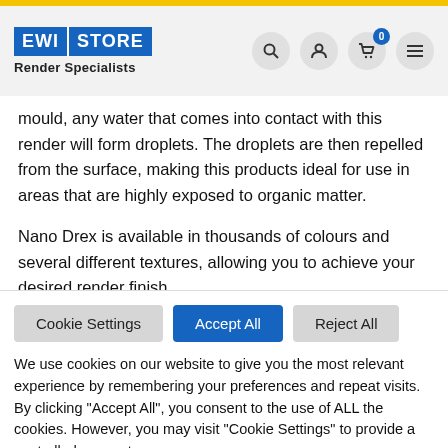[Figure (logo): EWI STORE Render Specialists logo with navigation icons (search, account, cart with 0 badge, menu)]
mould, any water that comes into contact with this render will form droplets. The droplets are then repelled from the surface, making this products ideal for use in areas that are highly exposed to organic matter.
Nano Drex is available in thousands of colours and several different textures, allowing you to achieve your desired render finish.
Cookie Settings  Accept All  Reject All
We use cookies on our website to give you the most relevant experience by remembering your preferences and repeat visits. By clicking “Accept All”, you consent to the use of ALL the cookies. However, you may visit “Cookie Settings” to provide a controlled consent.